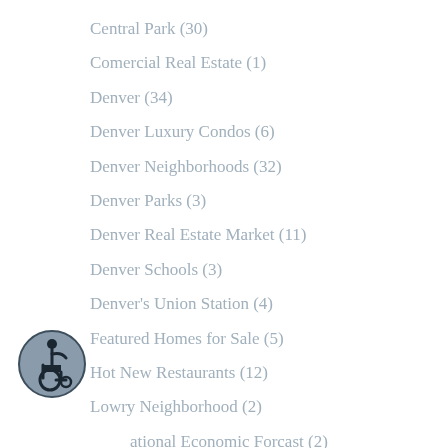Central Park  (30)
Comercial Real Estate  (1)
Denver  (34)
Denver Luxury Condos  (6)
Denver Neighborhoods  (32)
Denver Parks  (3)
Denver Real Estate Market  (11)
Denver Schools  (3)
Denver's Union Station  (4)
Featured Homes for Sale  (5)
Hot New Restaurants  (12)
Lowry Neighborhood  (2)
National Economic Forcast  (2)
New Construction  (4)
[Figure (illustration): Wheelchair accessibility icon — circular badge with dark border containing a stylized figure in a wheelchair on a grey-blue background]